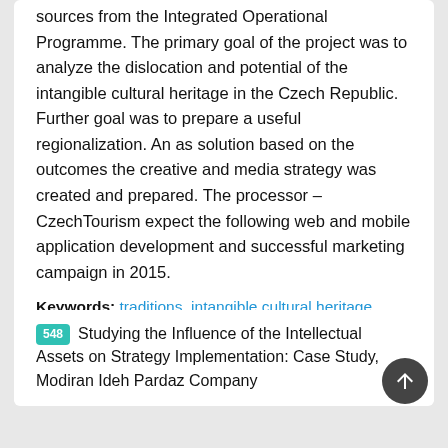sources from the Integrated Operational Programme. The primary goal of the project was to analyze the dislocation and potential of the intangible cultural heritage in the Czech Republic. Further goal was to prepare a useful regionalization. An as solution based on the outcomes the creative and media strategy was created and prepared. The processor – CzechTourism expect the following web and mobile application development and successful marketing campaign in 2015.
Keywords: traditions, intangible cultural heritage, Czech Republic, CzechTourism, digital performance
Procedia  PDF  Downloads 278
548 Studying the Influence of the Intellectual Assets on Strategy Implementation: Case Study, Modiran Ideh Pardaz Company